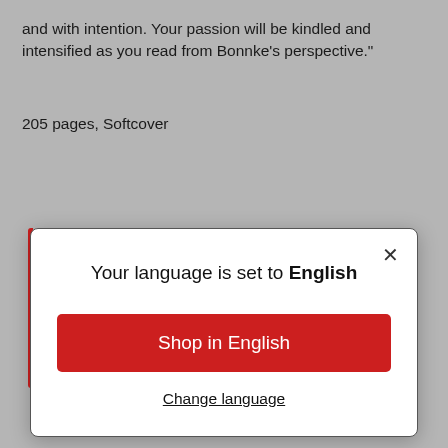and with intention. Your passion will be kindled and intensified as you read from Bonnke's perspective."
205 pages, Softcover
[Figure (screenshot): A modal dialog box with a close button (×) in the top-right corner. The modal contains the text 'Your language is set to English', a red button labeled 'Shop in English', and an underlined link 'Change language'.]